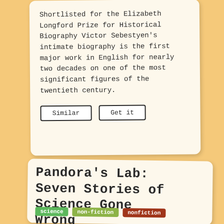Shortlisted for the Elizabeth Longford Prize for Historical Biography Victor Sebestyen's intimate biography is the first major work in English for nearly two decades on one of the most significant figures of the twentieth century.
Similar | Get it
PANDORA'S LAB: SEVEN STORIES OF SCIENCE GONE WRONG
science | non-fiction | nonfiction